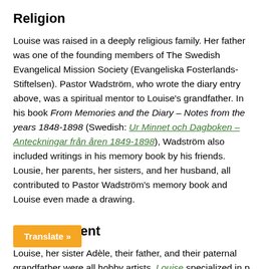Religion
Louise was raised in a deeply religious family. Her father was one of the founding members of The Swedish Evangelical Mission Society (Evangeliska Fosterlands-Stiftelsen). Pastor Wadström, who wrote the diary entry above, was a spiritual mentor to Louise's grandfather. In his book From Memories and the Diary – Notes from the years 1848-1898 (Swedish: Ur Minnet och Dagboken – Anteckningar från åren 1849-1898), Wadström also included writings in his memory book by his friends. Lousie, her parents, her sisters, and her husband, all contributed to Pastor Wadström's memory book and Louise even made a drawing.
Artistic Talent
Louise, her sister Adèle, their father, and their paternal grandfather were all hobby artists. Louise specialized in p[encil] drawings and watercolor paintings. Adèle